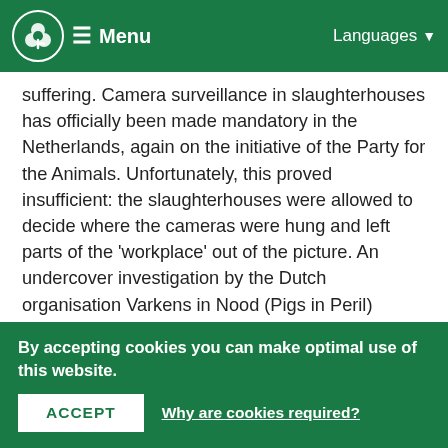Menu | Languages
suffering. Camera surveillance in slaughterhouses has officially been made mandatory in the Netherlands, again on the initiative of the Party for the Animals. Unfortunately, this proved insufficient: the slaughterhouses were allowed to decide where the cameras were hung and left parts of the 'workplace' out of the picture. An undercover investigation by the Dutch organisation Varkens in Nood (Pigs in Peril) showed that slaughterhouse employees deliberately mistreat animals off-screen.
Thanks to the recently adopted proposal of the Party for the Animals, the House of Representatives is now asking the government to ensure that not the slaughterhouses, but the independent organisation that supervises on behalf of the government (the NVWA) can determine where cameras are placed, so that all rooms and corners are visible. The Party for the Animals wants the images to be livestreamed and shared with an independent regulator. Unfortunately, proposals to this effect have not yet received a house...
By accepting cookies you can make optimal use of this website.
ACCEPT
Why are cookies required?